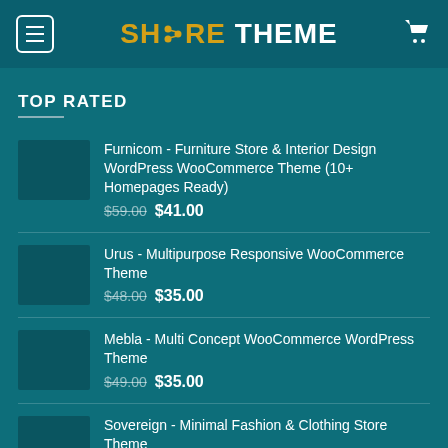SHARE THEME
TOP RATED
Furnicom - Furniture Store & Interior Design WordPress WooCommerce Theme (10+ Homepages Ready) $59.00 $41.00
Urus - Multipurpose Responsive WooCommerce Theme $48.00 $35.00
Mebla - Multi Concept WooCommerce WordPress Theme $49.00 $35.00
Sovereign - Minimal Fashion & Clothing Store Theme